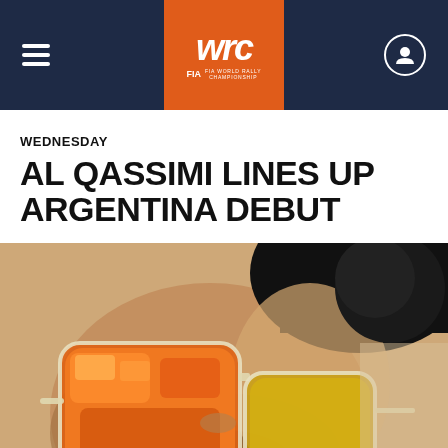WRC FIA World Rally Championship
WEDNESDAY
AL QASSIMI LINES UP ARGENTINA DEBUT
[Figure (photo): Close-up photo of a man wearing reflective orange/amber mirrored sunglasses with clear frames, with a black microphone visible in the upper right. The man has short dark hair and stubble.]